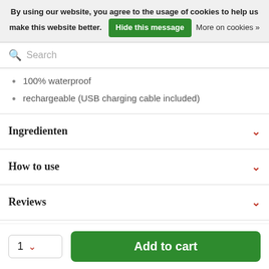By using our website, you agree to the usage of cookies to help us make this website better. Hide this message More on cookies »
Search
100% waterproof
rechargeable (USB charging cable included)
Ingredienten
How to use
Reviews
Verzending
1  Add to cart